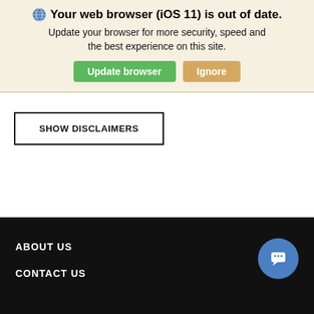Your web browser (iOS 11) is out of date. Update your browser for more security, speed and the best experience on this site. [Update browser] [Ignore]
SHOW DISCLAIMERS
ABOUT US
CONTACT US
Search  Saved  Contact